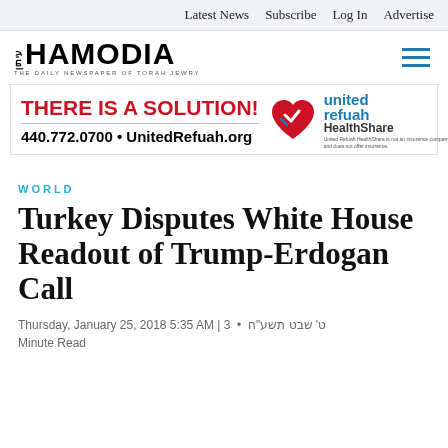Latest News  Subscribe  Log In  Advertise
[Figure (logo): Hamodia newspaper logo - THE DAILY NEWSPAPER OF TORAH JEWRY]
[Figure (infographic): United Refuah HealthShare advertisement: THERE IS A SOLUTION! 440.772.0700 • UnitedRefuah.org - United Refuah HealthShare is not an insurance company and does not offer insurance.]
WORLD
Turkey Disputes White House Readout of Trump-Erdogan Call
Thursday, January 25, 2018 5:35 AM | ט' שבט תשע"ח  •  3 Minute Read